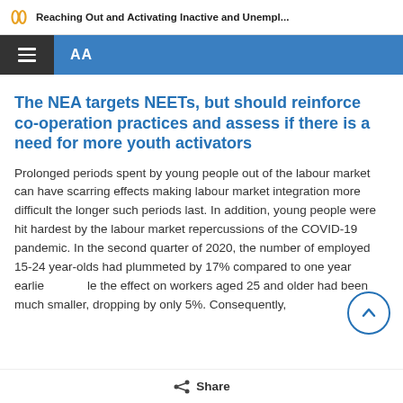Reaching Out and Activating Inactive and Unempl...
The NEA targets NEETs, but should reinforce co-operation practices and assess if there is a need for more youth activators
Prolonged periods spent by young people out of the labour market can have scarring effects making labour market integration more difficult the longer such periods last. In addition, young people were hit hardest by the labour market repercussions of the COVID-19 pandemic. In the second quarter of 2020, the number of employed 15-24 year-olds had plummeted by 17% compared to one year earlier, while the effect on workers aged 25 and older had been much smaller, dropping by only 5%. Consequently,